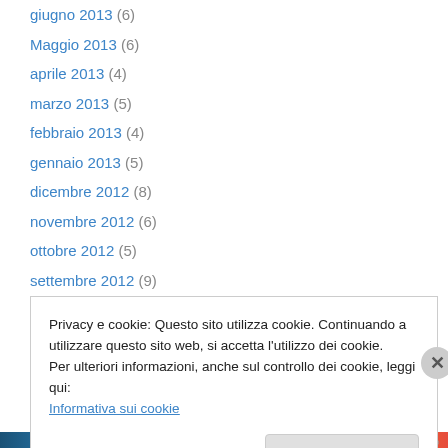giugno 2013 (6)
Maggio 2013 (6)
aprile 2013 (4)
marzo 2013 (5)
febbraio 2013 (4)
gennaio 2013 (5)
dicembre 2012 (8)
novembre 2012 (6)
ottobre 2012 (5)
settembre 2012 (9)
agosto 2012 (3)
luglio 2012 (10)
giugno 2012 (2)
Privacy e cookie: Questo sito utilizza cookie. Continuando a utilizzare questo sito web, si accetta l’utilizzo dei cookie.
Per ulteriori informazioni, anche sul controllo dei cookie, leggi qui:
Informativa sui cookie
Chiudi e accetta